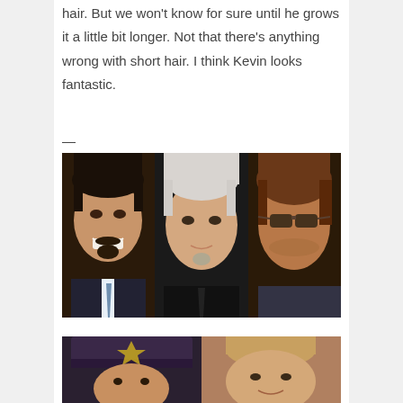hair. But we won't know for sure until he grows it a little bit longer. Not that there's anything wrong with short hair. I think Kevin looks fantastic.
—
[Figure (photo): Three side-by-side photos of men with different hairstyles connected by white arrows showing a progression from left to right. Left: man with dark short hair and goatee smiling. Middle: man with white/silver hair and goatee. Right: man with brown hair wearing sunglasses.]
[Figure (photo): Two side-by-side photos partially visible. Left: man wearing a dark cap with a badge/emblem. Right: man with short blonde/light brown hair.]